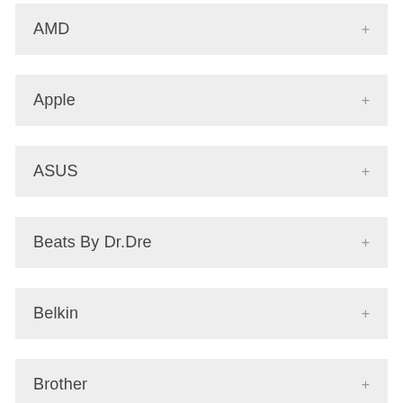AMD
Apple
ASUS
Beats By Dr.Dre
Belkin
Brother